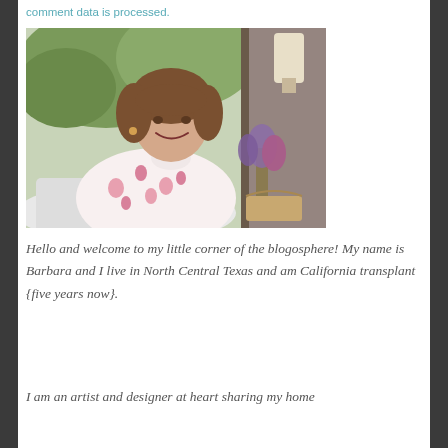comment data is processed.
[Figure (photo): A smiling woman with brown hair wearing a floral pink blouse, sitting in a chair. In the background there are green trees visible through a window and dried lavender flowers in a basket.]
Hello and welcome to my little corner of the blogosphere! My name is Barbara and I live in North Central Texas and am California transplant {five years now}.
I am an artist and designer at heart sharing my home